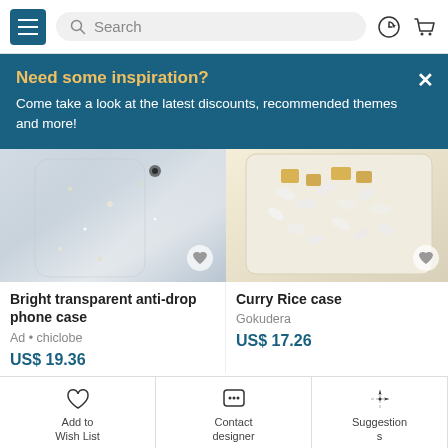[Figure (screenshot): Navigation bar with hamburger menu, search box, history icon, and cart icon]
Need some inspiration?
Come take a look at the latest discounts, recommended themes and more!
[Figure (photo): Bright transparent anti-drop phone case with glitter design on marble background]
Bright transparent anti-drop phone case
Ad • chiclobe
US$ 19.36
[Figure (photo): Curry Rice case - food-themed phone case with rice and curry beans]
Curry Rice case
Gokudera
US$ 17.26
[Figure (photo): Partial view of Toast phone case]
Toas
ama
US$
See more
Add to Wish List
Contact designer
Suggestions
Order